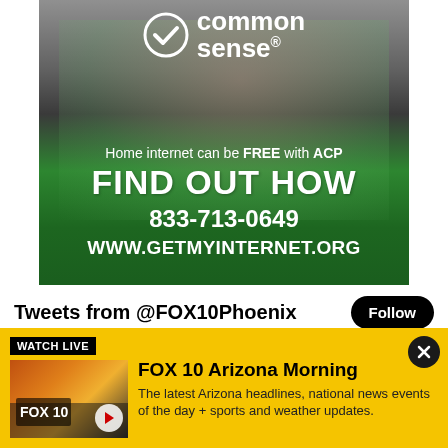[Figure (infographic): Common Sense Media advertisement. White/gray to green gradient background with child wearing headphones. Shows Common Sense logo (checkmark in circle), text: 'common sense®', 'Home internet can be FREE with ACP', 'FIND OUT HOW', '833-713-0649', 'WWW.GETMYINTERNET.ORG']
Tweets from @FOX10Phoenix
Follow
FOX 10 Phoenix ✓ @FOX10Phoenix · 19s
[Figure (infographic): Watch Live banner on yellow/gold background. Black 'WATCH LIVE' badge. FOX 10 Phoenix thumbnail image showing desert sunrise. FOX 10 Arizona Morning show info. Close button (X) top right.]
FOX 10 Arizona Morning
The latest Arizona headlines, national news events of the day + sports and weather updates.